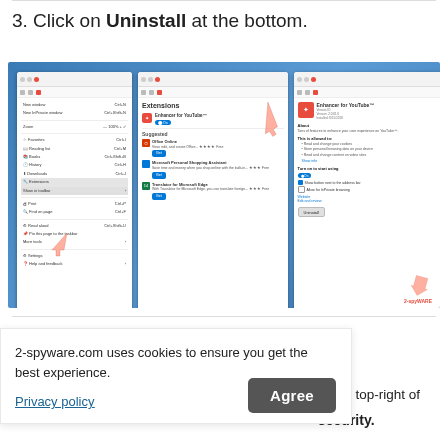3. Click on Uninstall at the bottom.
[Figure (screenshot): Screenshot showing three Microsoft Edge browser panels: a browser menu with Extensions highlighted, an Extensions panel listing Enhancer for YouTube and suggested extensions, and an extension detail panel for Enhancer for YouTube with an Uninstall button highlighted by a pink arrow.]
2-spyware.com uses cookies to ensure you get the best experience.
Privacy policy
Agree
at the top-right of
security.